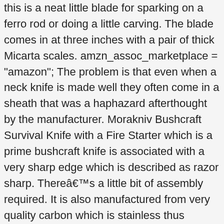this is a neat little blade for sparking on a ferro rod or doing a little carving. The blade comes in at three inches with a pair of thick Micarta scales. amzn_assoc_marketplace = "amazon"; The problem is that even when a neck knife is made well they often come in a sheath that was a haphazard afterthought by the manufacturer. Morakniv Bushcraft Survival Knife with a Fire Starter which is a prime bushcraft knife is associated with a very sharp edge which is described as razor sharp. Thereâs a little bit of assembly required. It is also manufactured from very quality carbon which is stainless thus allowing you to work with the knife within a wide range of climatic conditions without exposing the blade to rust. Out of Stock. Required fields are marked *. When you go for a neck knife with a high price but on the hand are more durable, it will be an added advantage as you will be in a better position to save money. amzn_assoc_marketplace = "amazon"; This is a tough little bushcraft blade to pack around. Because California requires that labeling for products sold in there state. You would expect The Bushcraft Store to have the best selection of